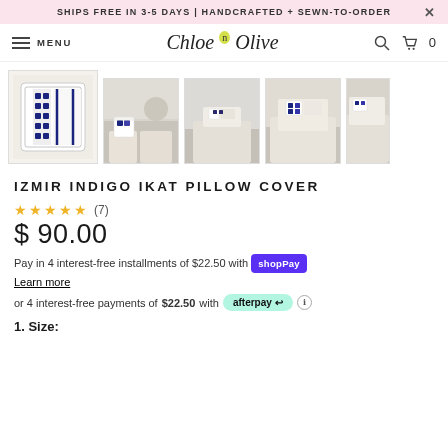SHIPS FREE IN 3-5 DAYS | HANDCRAFTED + SEWN-TO-ORDER
MENU  Chloe n Olive  [search] [cart] 0
[Figure (photo): Five product thumbnail photos of the Izmir Indigo Ikat Pillow Cover: main close-up of pillow, and four room/lifestyle shots of pillows on chairs]
IZMIR INDIGO IKAT PILLOW COVER
★★★★★ (7)
$ 90.00
Pay in 4 interest-free installments of $22.50 with Shop Pay
Learn more
or 4 interest-free payments of $22.50 with afterpay
1. Size: